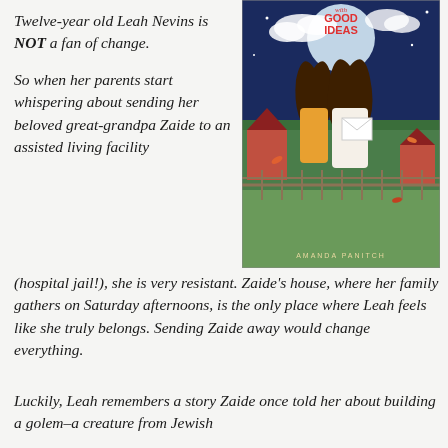Twelve-year old Leah Nevins is NOT a fan of change.
So when her parents start whispering about sending her beloved great-grandpa Zaide to an assisted living facility (hospital jail!), she is very resistant. Zaide's house, where her family gathers on Saturday afternoons, is the only place where Leah feels like she truly belongs. Sending Zaide away would change everything.
[Figure (illustration): Book cover illustration showing two girls with long dark hair standing together, one in a red top and white skirt holding an envelope, against a background with a fence, houses, trees, moon, and falling leaves. Text reads 'with GOOD IDEAS' at top and 'AMANDA PANITCH' at bottom.]
Luckily, Leah remembers a story Zaide once told her about building a golem–a creature from Jewish